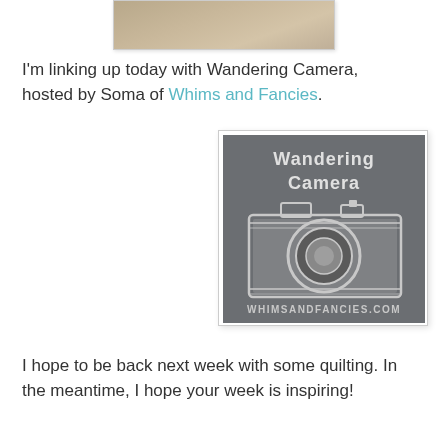[Figure (photo): Partial photo at top of page showing a sandy/earthy textured surface, cropped]
I'm linking up today with Wandering Camera, hosted by Soma of Whims and Fancies.
[Figure (logo): Wandering Camera logo on grey background featuring a camera illustration and text 'WHIMSANDFANCIES.COM']
I hope to be back next week with some quilting. In the meantime, I hope your week is inspiring!